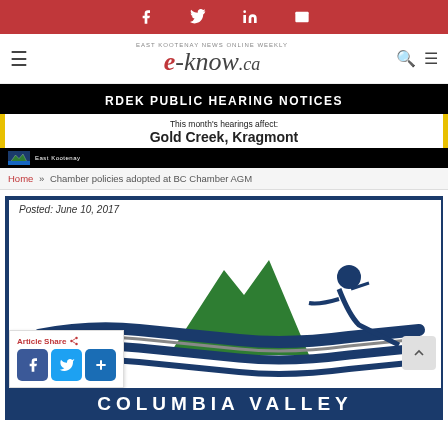Social sharing bar with Facebook, Twitter, LinkedIn, Email icons
[Figure (logo): e-know.ca East Kootenay News Online Weekly logo with navigation hamburger menu and search/menu icons]
[Figure (infographic): RDEK Public Hearing Notices banner – This month's hearings affect: Gold Creek, Kragmont]
Home » Chamber policies adopted at BC Chamber AGM
Posted: June 10, 2017
[Figure (logo): Columbia Valley Chamber of Commerce logo with mountain and river graphic in green and blue]
Article Share
COLUMBIA VALLEY